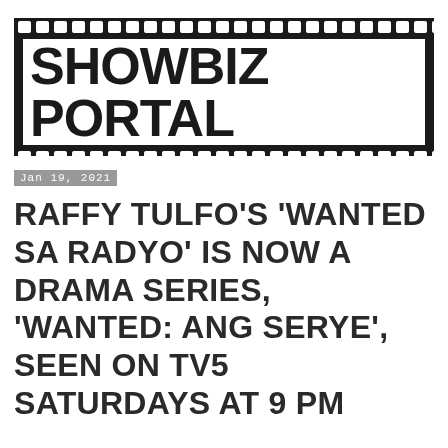[Figure (logo): Showbiz Portal logo styled as a film strip with sprocket holes on top and bottom, white inner frame with bold black text 'SHOWBIZ PORTAL']
Jan 19, 2021
RAFFY TULFO'S 'WANTED SA RADYO' IS NOW A DRAMA SERIES, 'WANTED: ANG SERYE', SEEN ON TV5 SATURDAYS AT 9 PM